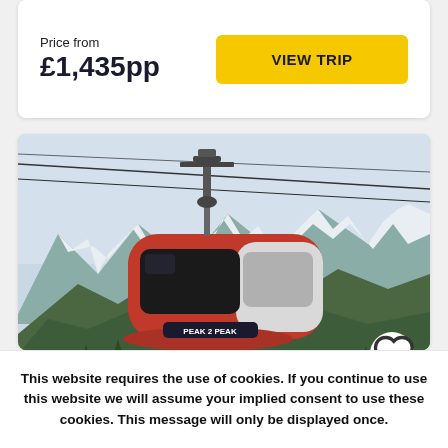Price from
£1,435pp
VIEW TRIP
[Figure (photo): Red Peak 2 Peak gondola cable car suspended on cables with snow-capped mountains and forest in background]
Great Parks of Western Canada
This website requires the use of cookies. If you continue to use this website we will assume your implied consent to use these cookies. This message will only be displayed once.